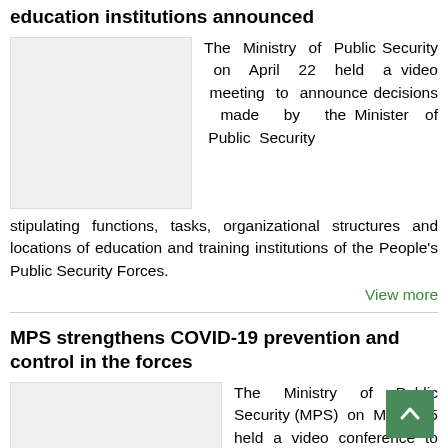education institutions announced
[Figure (photo): Image placeholder for the first article about education institutions]
The Ministry of Public Security on April 22 held a video meeting to announce decisions made by the Minister of Public Security stipulating functions, tasks, organizational structures and locations of education and training institutions of the People's Public Security Forces.
View more
MPS strengthens COVID-19 prevention and control in the forces
[Figure (photo): Image placeholder for the second article about COVID-19 prevention]
The Ministry of Public Security (MPS) on March 15 held a video conference to instruct public security officers at all levels to prevent